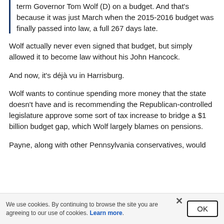term Governor Tom Wolf (D) on a budget. And that's because it was just March when the 2015-2016 budget was finally passed into law, a full 267 days late.
Wolf actually never even signed that budget, but simply allowed it to become law without his John Hancock.
And now, it's déjà vu in Harrisburg.
Wolf wants to continue spending more money that the state doesn't have and is recommending the Republican-controlled legislature approve some sort of tax increase to bridge a $1 billion budget gap, which Wolf largely blames on pensions.
Payne, along with other Pennsylvania conservatives, would
We use cookies. By continuing to browse the site you are agreeing to our use of cookies. Learn more.